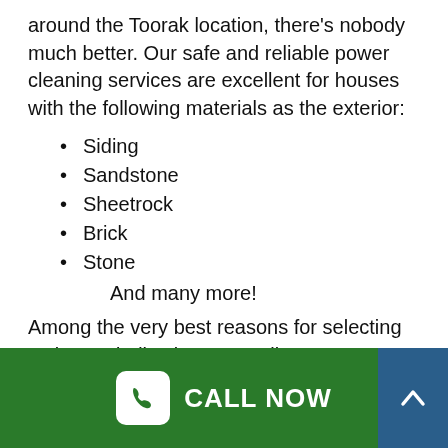around the Toorak location, there's nobody much better. Our safe and reliable power cleaning services are excellent for houses with the following materials as the exterior:
Siding
Sandstone
Sheetrock
Brick
Stone
And many more!
Among the very best reasons for selecting us is our dedication to excellence, our method and materials guarantee your home's exterior is safe and thoroughly cleaned. We never ever use
CALL NOW